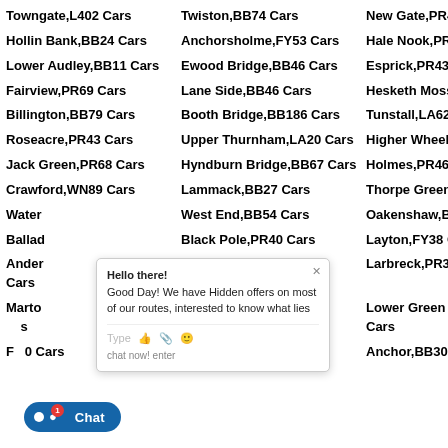Towngate,L402 Cars
Twiston,BB74 Cars
New Gate,PR44 Cars
Hollin Bank,BB24 Cars
Anchorsholme,FY53 Cars
Hale Nook,PR36 Cars
Lower Audley,BB11 Cars
Ewood Bridge,BB46 Cars
Esprick,PR43 Cars
Fairview,PR69 Cars
Lane Side,BB46 Cars
Hesketh Moss,PR46 Cars
Billington,BB79 Cars
Booth Bridge,BB186 Cars
Tunstall,LA62 Cars
Roseacre,PR43 Cars
Upper Thurnham,LA20 Cars
Higher Wheelton,PR68 Cars
Jack Green,PR68 Cars
Hyndburn Bridge,BB67 Cars
Holmes,PR46 Cars
Crawford,WN89 Cars
Lammack,BB27 Cars
Thorpe Green,PR68 Cars
Water (partial)
West End,BB54 Cars
Oakenshaw,BB55 Cars
Ballad (partial)
Black Pole,PR40 Cars
Layton,FY38 Cars
Anderson (partial) Cars
Langho,BB68 Cars
Larbreck,PR30 Cars
Marto (partial) s
Marshaw,LA29 Cars
Lower Green Bank,LA29 Cars
F (partial) 0 Cars
Fishers Row,PR36 Cars
Anchor,BB30 Cars